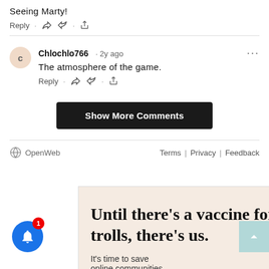Seeing Marty!
Reply · 👍 👎 · ⬆
Chlochlo766 · 2y ago
The atmosphere of the game.
Reply · 👍 👎 · ⬆
Show More Comments
OpenWeb
Terms | Privacy | Feedback
[Figure (screenshot): Advertisement with text: Until there's a vaccine for trolls, there's us. It's time to save online communities.]
Until there's a vaccine for trolls, there's us.
It's time to save online communities.